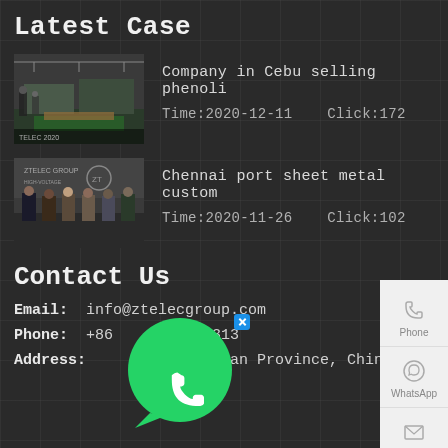Latest Case
[Figure (photo): Manufacturing floor with metal sheets and equipment]
Company in Cebu selling phenoli
Time:2020-12-11    Click:172
[Figure (photo): Group of people posing in front of a banner]
Chennai port sheet metal custom
Time:2020-11-26    Click:102
Contact Us
Email:  info@ztelecgroup.com
Phone:  +86       7718313
Address:      u City, Henan Province, China
[Figure (infographic): WhatsApp icon bubble overlay with phone icon]
[Figure (infographic): Sidebar with Phone, WhatsApp, Email, Facebook icons]